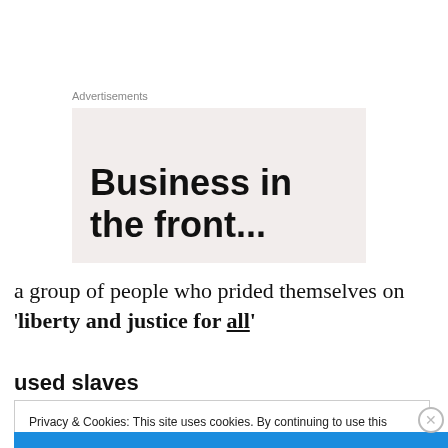Advertisements
[Figure (illustration): Advertisement box with light beige background showing text 'Business in the front...' in large bold black font]
a group of people who prided themselves on 'liberty and justice for all'
used slaves
Privacy & Cookies: This site uses cookies. By continuing to use this website, you agree to their use.
To find out more, including how to control cookies, see here: Cookie Policy
Close and accept